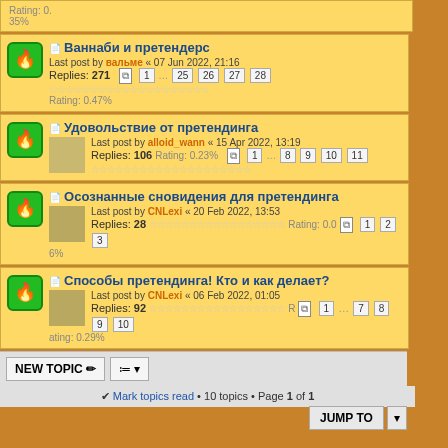Rating: 0.35%
Ваннаби и претендерс — Last post by вальме « 07 Jun 2022, 21:16 — Replies: 271 — Rating: 0.47%
Удовольствие от претендинга — Last post by alloid_wann « 15 Apr 2022, 13:19 — Replies: 106 — Rating: 0.23%
Осознанные сновидения для претендинга — Last post by CNLexi « 20 Feb 2022, 13:53 — Replies: 28 — Rating: 0.06%
Способы претендинга! Кто и как делает? — Last post by CNLexi « 06 Feb 2022, 01:05 — Replies: 92 — Rating: 0.29%
NEW TOPIC • Mark topics read • 10 topics • Page 1 of 1
JUMP TO